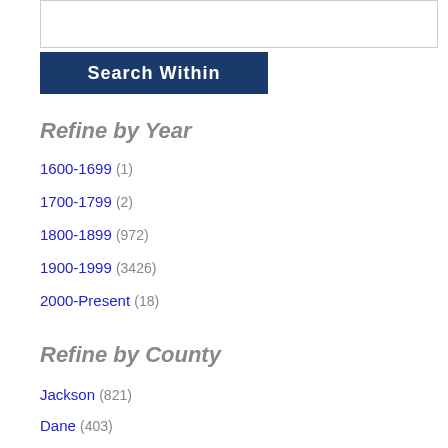[Figure (screenshot): Search Within button UI with input box above and dark blue 'Search Within' button below]
Refine by Year
1600-1699 (1)
1700-1799 (2)
1800-1899 (972)
1900-1999 (3426)
2000-Present (18)
Refine by County
Jackson (821)
Dane (403)
Milwaukee (347)